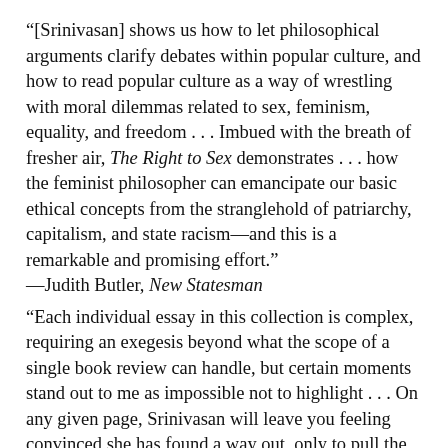“[Srinivasan] shows us how to let philosophical arguments clarify debates within popular culture, and how to read popular culture as a way of wrestling with moral dilemmas related to sex, feminism, equality, and freedom . . . Imbued with the breath of fresher air, The Right to Sex demonstrates . . . how the feminist philosopher can emancipate our basic ethical concepts from the stranglehold of patriarchy, capitalism, and state racism—and this is a remarkable and promising effort.”
—Judith Butler, New Statesman
"Each individual essay in this collection is complex, requiring an exegesis beyond what the scope of a single book review can handle, but certain moments stand out to me as impossible not to highlight . . . On any given page, Srinivasan will leave you feeling convinced she has found a way out, only to pull the rug out from under you; whenever she says “but,” one